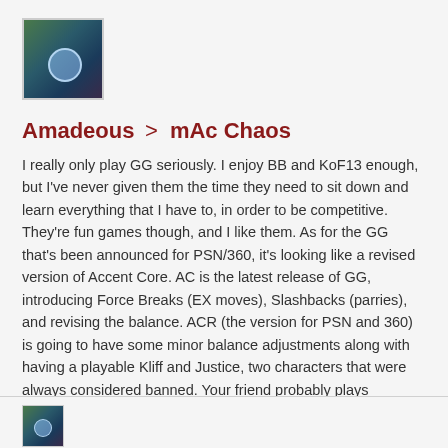[Figure (photo): User avatar photo showing outdoor/nature scene with blue circular element]
Amadeous > mAc Chaos
I really only play GG seriously. I enjoy BB and KoF13 enough, but I've never given them the time they need to sit down and learn everything that I have to, in order to be competitive. They're fun games though, and I like them. As for the GG that's been announced for PSN/360, it's looking like a revised version of Accent Core. AC is the latest release of GG, introducing Force Breaks (EX moves), Slashbacks (parries), and revising the balance. ACR (the version for PSN and 360) is going to have some minor balance adjustments along with having a playable Kliff and Justice, two characters that were always considered banned. Your friend probably plays #Reload or Slash, older revisions of the game.
June 1, 2012   Report
[Figure (photo): User avatar photo (small, bottom of page)]